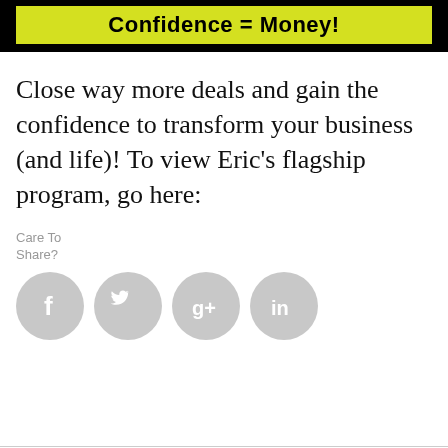[Figure (other): Banner image with yellow background and bold black text reading 'Confidence = Money!' on a black background]
Close way more deals and gain the confidence to transform your business (and life)! To view Eric's flagship program, go here:
Care To Share?
[Figure (other): Four social media share icons: Facebook (f), Twitter (bird), Google+ (g+), LinkedIn (in) — all circular gray icons]